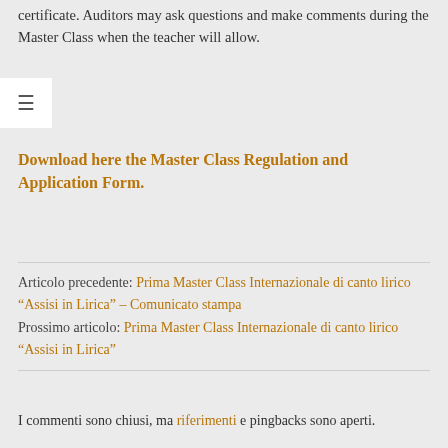certificate. Auditors may ask questions and make comments during the Master Class when the teacher will allow.
Download here the Master Class Regulation and Application Form.
Articolo precedente: Prima Master Class Internazionale di canto lirico “Assisi in Lirica” – Comunicato stampa
Prossimo articolo: Prima Master Class Internazionale di canto lirico “Assisi in Lirica”
I commenti sono chiusi, ma riferimenti e pingbacks sono aperti.